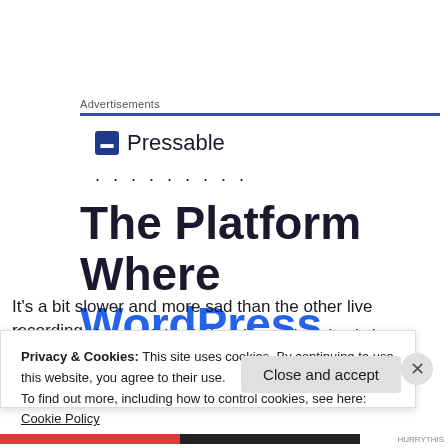Advertisements
[Figure (logo): Pressable logo with blue square icon containing letter P and text 'Pressable', followed by a row of dots]
The Platform Where WordPress
It's a bit slower and more sad than the other live recording
I've seen of them doing it, but the guy's voice is just
Privacy & Cookies: This site uses cookies. By continuing to use this website, you agree to their use.
To find out more, including how to control cookies, see here: Cookie Policy
Close and accept